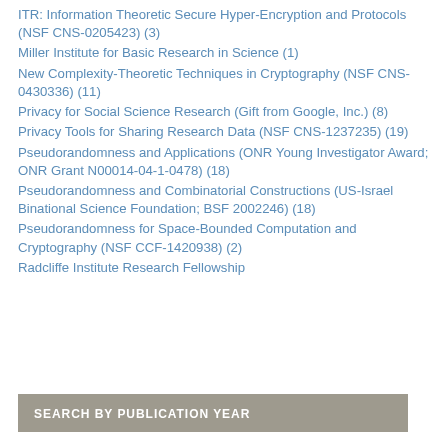ITR: Information Theoretic Secure Hyper-Encryption and Protocols (NSF CNS-0205423) (3)
Miller Institute for Basic Research in Science (1)
New Complexity-Theoretic Techniques in Cryptography (NSF CNS-0430336) (11)
Privacy for Social Science Research (Gift from Google, Inc.) (8)
Privacy Tools for Sharing Research Data (NSF CNS-1237235) (19)
Pseudorandomness and Applications (ONR Young Investigator Award; ONR Grant N00014-04-1-0478) (18)
Pseudorandomness and Combinatorial Constructions (US-Israel Binational Science Foundation; BSF 2002246) (18)
Pseudorandomness for Space-Bounded Computation and Cryptography (NSF CCF-1420938) (2)
Radcliffe Institute Research Fellowship
SEARCH BY PUBLICATION YEAR